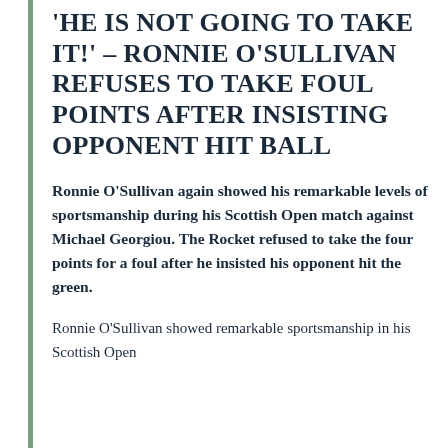'HE IS NOT GOING TO TAKE IT!' – RONNIE O'SULLIVAN REFUSES TO TAKE FOUL POINTS AFTER INSISTING OPPONENT HIT BALL
Ronnie O'Sullivan again showed his remarkable levels of sportsmanship during his Scottish Open match against Michael Georgiou. The Rocket refused to take the four points for a foul after he insisted his opponent hit the green.
Ronnie O'Sullivan showed remarkable sportsmanship in his Scottish Open